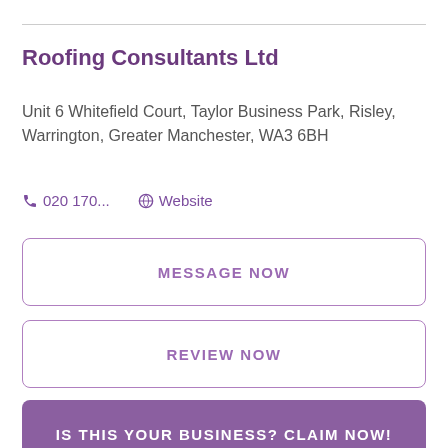Roofing Consultants Ltd
Unit 6 Whitefield Court, Taylor Business Park, Risley, Warrington, Greater Manchester, WA3 6BH
020 170...   Website
MESSAGE NOW
REVIEW NOW
IS THIS YOUR BUSINESS? CLAIM NOW!